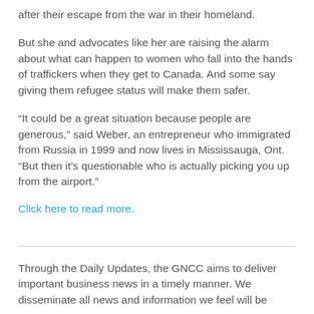after their escape from the war in their homeland.
But she and advocates like her are raising the alarm about what can happen to women who fall into the hands of traffickers when they get to Canada. And some say giving them refugee status will make them safer.
“It could be a great situation because people are generous,” said Weber, an entrepreneur who immigrated from Russia in 1999 and now lives in Mississauga, Ont. “But then it’s questionable who is actually picking you up from the airport.”
Click here to read more.
Through the Daily Updates, the GNCC aims to deliver important business news in a timely manner. We disseminate all news and information we feel will be